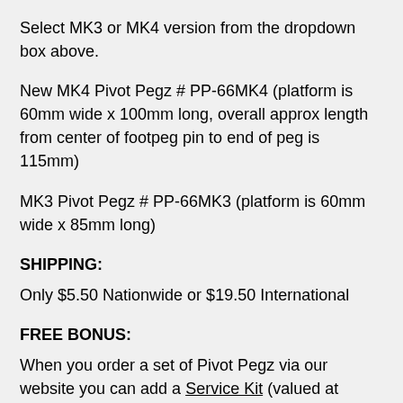Select MK3 or MK4 version from the dropdown box above.
New MK4 Pivot Pegz # PP-66MK4 (platform is 60mm wide x 100mm long, overall approx length from center of footpeg pin to end of peg is 115mm)
MK3 Pivot Pegz # PP-66MK3 (platform is 60mm wide x 85mm long)
SHIPPING:
Only $5.50 Nationwide or $19.50 International
FREE BONUS:
When you order a set of Pivot Pegz via our website you can add a Service Kit (valued at $19.95) to your Cart and enter this code MYFREEKIT in the